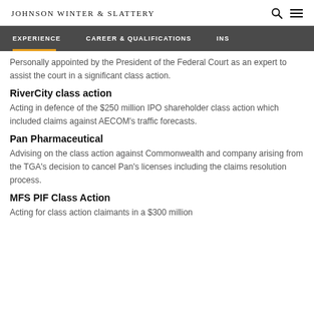Johnson Winter & Slattery
Personally appointed by the President of the Federal Court as an expert to assist the court in a significant class action.
RiverCity class action
Acting in defence of the $250 million IPO shareholder class action which included claims against AECOM's traffic forecasts.
Pan Pharmaceutical
Advising on the class action against Commonwealth and company arising from the TGA's decision to cancel Pan's licenses including the claims resolution process.
MFS PIF Class Action
Acting for class action claimants in a $300 million